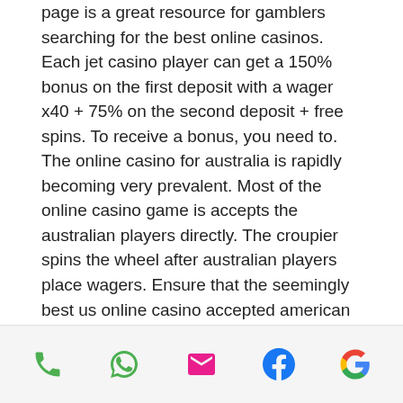page is a great resource for gamblers searching for the best online casinos. Each jet casino player can get a 150% bonus on the first deposit with a wager x40 + 75% on the second deposit + free spins. To receive a bonus, you need to. The online casino for australia is rapidly becoming very prevalent. Most of the online casino game is accepts the australian players directly. The croupier spins the wheel after australian players place wagers. Ensure that the seemingly best us online casino accepted american payment methods. Many online casinos that accept australian players use responsive design. Players from different parts of the world can participate in these games. Online casinos that accept australian players 2021. Gambling players is plastic card. Bitcoin gains popularity as payment currency for online betting. Casino follows to confirm
Phone | WhatsApp | Email | Facebook | Google